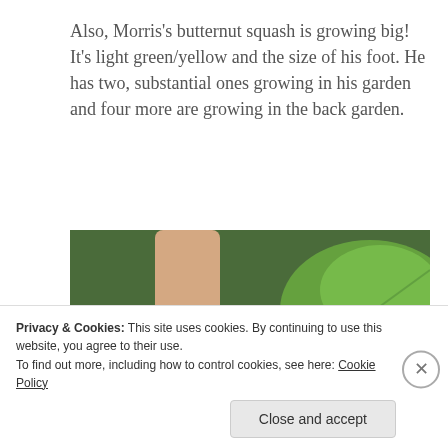Also, Morris's butternut squash is growing big! It's light green/yellow and the size of his foot. He has two, substantial ones growing in his garden and four more are growing in the back garden.
[Figure (photo): Close-up photo of a foot wearing a dark navy/black Crocs shoe with a white sock, standing on grass with large squash leaves visible in the background.]
Privacy & Cookies: This site uses cookies. By continuing to use this website, you agree to their use.
To find out more, including how to control cookies, see here: Cookie Policy